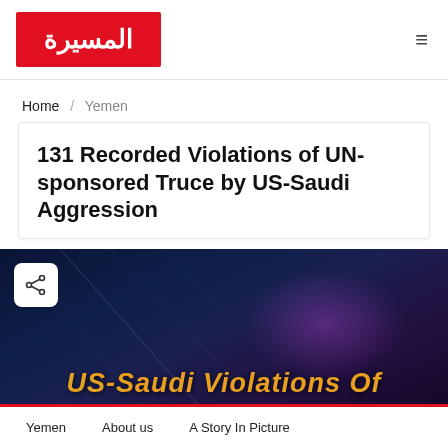المسيرة (Al-Masirah) logo with hamburger menu
Home / Yemen
131 Recorded Violations of UN-sponsored Truce by US-Saudi Aggression
[Figure (screenshot): Dark blue background image with orange italic text reading 'US-Saudi Violations Of' partially visible at bottom, with a share button overlay in the top-left corner]
Yemen   About us   A Story In Picture